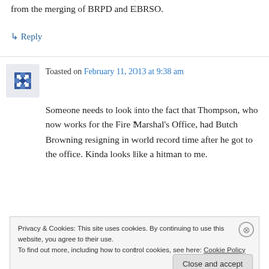from the merging of BRPD and EBRSO.
↳ Reply
Toasted on February 11, 2013 at 9:38 am
Someone needs to look into the fact that Thompson, who now works for the Fire Marshal's Office, had Butch Browning resigning in world record time after he got to the office. Kinda looks like a hitman to me.
Privacy & Cookies: This site uses cookies. By continuing to use this website, you agree to their use.
To find out more, including how to control cookies, see here: Cookie Policy